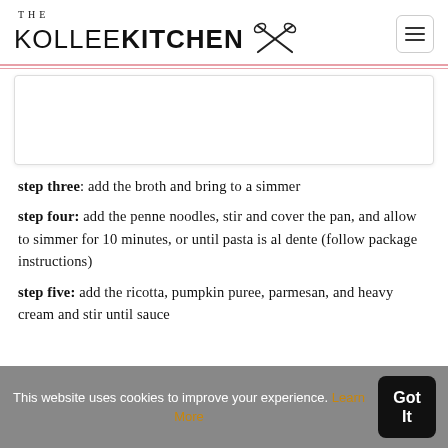THE KOLLEE KITCHEN
[Figure (photo): Placeholder image box for a recipe photo]
step three: add the broth and bring to a simmer
step four: add the penne noodles, stir and cover the pan, and allow to simmer for 10 minutes, or until pasta is al dente (follow package instructions)
step five: add the ricotta, pumpkin puree, parmesan, and heavy cream and stir until sauce
This website uses cookies to improve your experience. Learn More
Got It